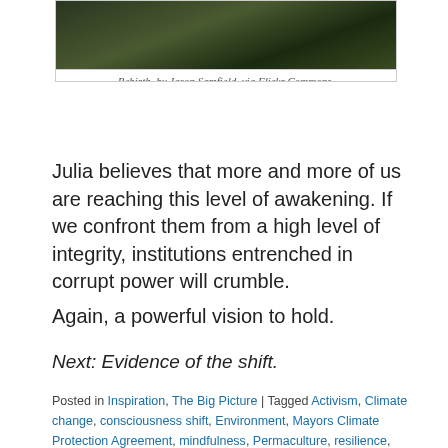[Figure (photo): Close-up nature/plant photo — green stem against dark background]
Rebirth, by Jason Samfield, via Flickr Commons.
Julia believes that more and more of us are reaching this level of awakening. If we confront them from a high level of integrity, institutions entrenched in corrupt power will crumble.
Again, a powerful vision to hold.
Next: Evidence of the shift.
Posted in Inspiration, The Big Picture | Tagged Activism, Climate change, consciousness shift, Environment, Mayors Climate Protection Agreement, mindfulness, Permaculture, resilience, Sustainability, Transition US, Tree People, Urban Forestry, Urban